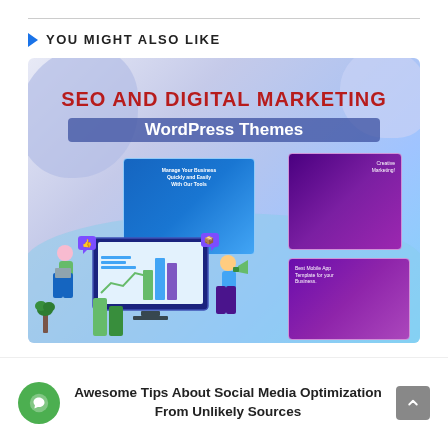YOU MIGHT ALSO LIKE
[Figure (illustration): SEO and Digital Marketing WordPress Themes promotional banner with colorful illustration of people working with analytics dashboard, website screenshots, and marketing graphics]
Awesome Tips About Social Media Optimization From Unlikely Sources